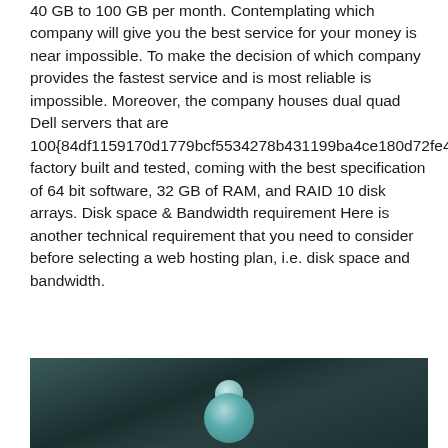40 GB to 100 GB per month. Contemplating which company will give you the best service for your money is near impossible. To make the decision of which company provides the fastest service and is most reliable is impossible. Moreover, the company houses dual quad Dell servers that are 100{84df1159170d1779bcf5534278b431199ba4ce180d72fe4df4d6efb9b54f2f1d} factory built and tested, coming with the best specification of 64 bit software, 32 GB of RAM, and RAID 10 disk arrays. Disk space & Bandwidth requirement Here is another technical requirement that you need to consider before selecting a web hosting plan, i.e. disk space and bandwidth.
[Figure (photo): Dark teal/green toned image showing a partially visible figure or person, cropped at the bottom of the page.]